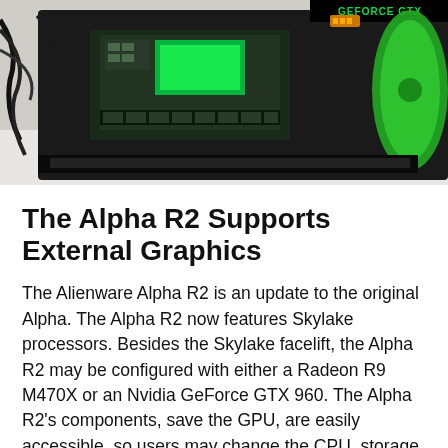[Figure (photo): Photo of an Nvidia GeForce GTX graphics card with green LED lighting and cables, partially disassembled on a white surface]
The Alpha R2 Supports External Graphics
The Alienware Alpha R2 is an update to the original Alpha. The Alpha R2 now features Skylake processors. Besides the Skylake facelift, the Alpha R2 may be configured with either a Radeon R9 M470X or an Nvidia GeForce GTX 960. The Alpha R2’s components, save the GPU, are easily accessible, so users may change the CPU, storage and memory themselves.